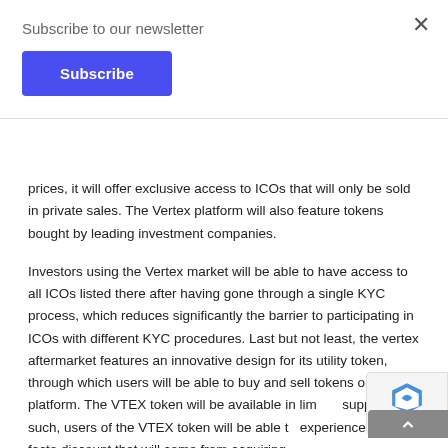Subscribe to our newsletter
Subscribe
prices, it will offer exclusive access to ICOs that will only be sold in private sales. The Vertex platform will also feature tokens bought by leading investment companies.
Investors using the Vertex market will be able to have access to all ICOs listed there after having gone through a single KYC process, which reduces significantly the barrier to participating in ICOs with different KYC procedures. Last but not least, the vertex aftermarket features an innovative design for its utility token, through which users will be able to buy and sell tokens on the platform. The VTEX token will be available in limited supply. As such, users of the VTEX token will be able to experience a de facto discount that will come from acquiring